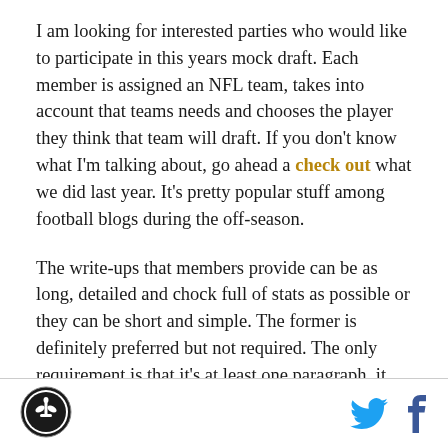I am looking for interested parties who would like to participate in this years mock draft. Each member is assigned an NFL team, takes into account that teams needs and chooses the player they think that team will draft. If you don't know what I'm talking about, go ahead a check out what we did last year. It's pretty popular stuff among football blogs during the off-season.
The write-ups that members provide can be as long, detailed and chock full of stats as possible or they can be short and simple. The former is definitely preferred but not required. The only requirement is that it's at least one paragraph, it makes a modicum of sense for
[Figure (logo): New Orleans Saints circular logo in black and white]
[Figure (logo): Twitter bird icon in cyan blue]
[Figure (logo): Facebook 'f' icon in dark blue]